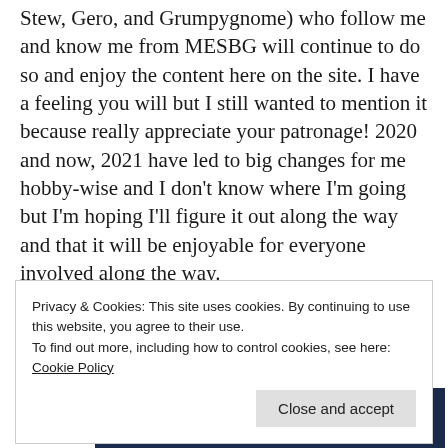Stew, Gero, and Grumpygnome) who follow me and know me from MESBG will continue to do so and enjoy the content here on the site. I have a feeling you will but I still wanted to mention it because really appreciate your patronage! 2020 and now, 2021 have led to big changes for me hobby-wise and I don't know where I'm going but I'm hoping I'll figure it out along the way and that it will be enjoyable for everyone involved along the way.
Advertisements
[Figure (other): Advertisement banner with dark blue and light blue sections, containing a logo box with the letter D]
Privacy & Cookies: This site uses cookies. By continuing to use this website, you agree to their use.
To find out more, including how to control cookies, see here:
Cookie Policy
Close and accept